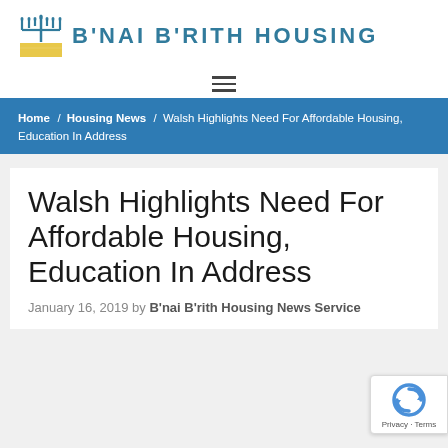[Figure (logo): B'Nai B'Rith Housing logo with menorah and yellow block graphic, teal/blue text]
[Figure (other): Hamburger menu icon (three horizontal lines)]
Home / Housing News / Walsh Highlights Need For Affordable Housing, Education In Address
Walsh Highlights Need For Affordable Housing, Education In Address
January 16, 2019 by B'nai B'rith Housing News Service